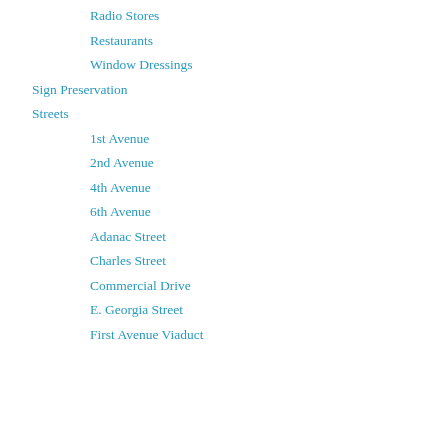Radio Stores
Restaurants
Window Dressings
Sign Preservation
Streets
1st Avenue
2nd Avenue
4th Avenue
6th Avenue
Adanac Street
Charles Street
Commercial Drive
E. Georgia Street
First Avenue Viaduct